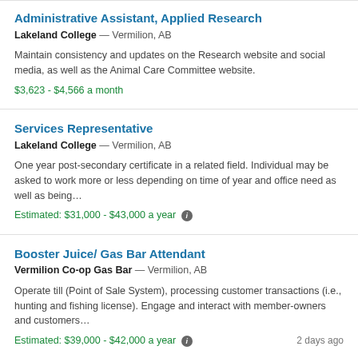Administrative Assistant, Applied Research
Lakeland College — Vermilion, AB
Maintain consistency and updates on the Research website and social media, as well as the Animal Care Committee website.
$3,623 - $4,566 a month
Services Representative
Lakeland College — Vermilion, AB
One year post-secondary certificate in a related field. Individual may be asked to work more or less depending on time of year and office need as well as being…
Estimated: $31,000 - $43,000 a year
Booster Juice/ Gas Bar Attendant
Vermilion Co-op Gas Bar — Vermilion, AB
Operate till (Point of Sale System), processing customer transactions (i.e., hunting and fishing license). Engage and interact with member-owners and customers…
Estimated: $39,000 - $42,000 a year